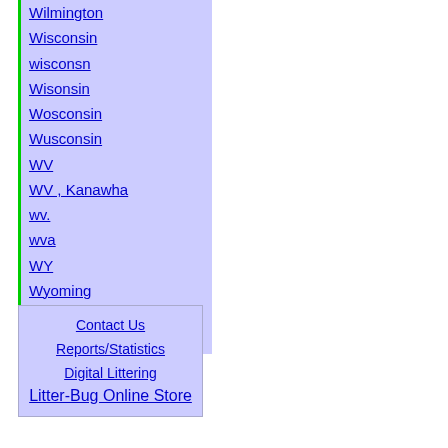Wilmington
Wisconsin
wisconsn
Wisonsin
Wosconsin
Wusconsin
WV
WV , Kanawha
wv.
wva
WY
Wyoming
Yexas
yonkers
Contact Us
Reports/Statistics
Digital Littering
Litter-Bug Online Store